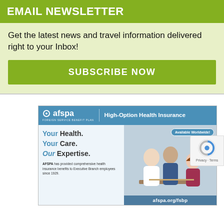EMAIL NEWSLETTER
Get the latest news and travel information delivered right to your Inbox!
SUBSCRIBE NOW
[Figure (illustration): AFSPA Foreign Service Benefit Plan advertisement. Blue header bar with AFSPA logo on left and 'High-Option Health Insurance' text on right. Left side shows 'Your Health. Your Care. Our Expertise.' taglines and AFSPA description text. Right side shows photo of doctor, father, and child. Bottom right has 'Available Worldwide!' badge and 'afspa.org/fsbp' URL bar.]